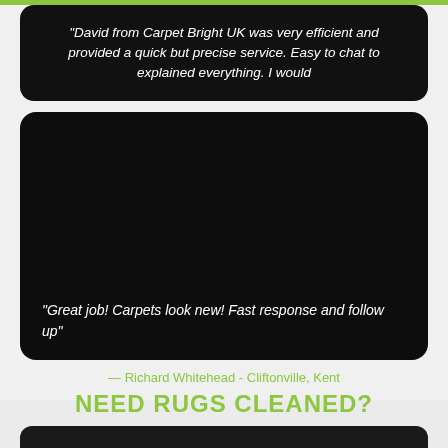“David from Carpet Bright UK was very efficient and provided a quick but precise service. Easy to chat to explained everything. I would
“Great job! Carpets look new! Fast response and follow up”
— Richard Whitehead - Cliftonville, Kent
NEED RUGS CLEANED?